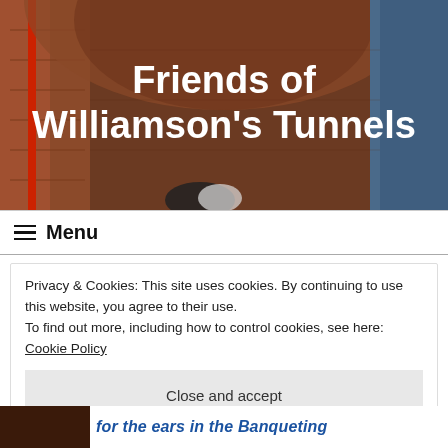[Figure (photo): Header photo of an underground tunnel with brick/stone walls, reddish-brown tones. A person is partially visible at the bottom. White bold text overlay reads 'Friends of Williamson's Tunnels'.]
Friends of Williamson's Tunnels
≡  Menu
Privacy & Cookies: This site uses cookies. By continuing to use this website, you agree to their use.
To find out more, including how to control cookies, see here: Cookie Policy
Close and accept
for the ears in the Banqueting